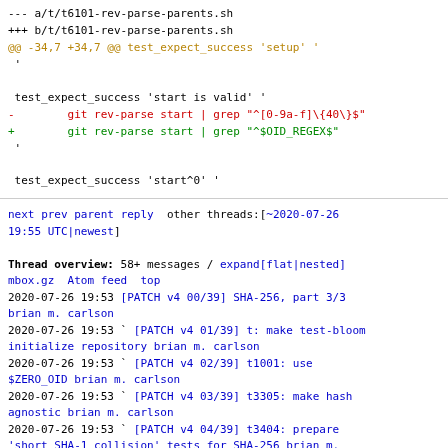--- a/t/t6101-rev-parse-parents.sh
+++ b/t/t6101-rev-parse-parents.sh
@@ -34,7 +34,7 @@ test_expect_success 'setup' '
  '

 test_expect_success 'start is valid' '
-        git rev-parse start | grep "^[0-9a-f]\{40\}$"
+        git rev-parse start | grep "^$OID_REGEX$"
  '

 test_expect_success 'start^0' '
next prev parent reply  other threads:[~2020-07-26 19:55 UTC|newest]

Thread overview: 58+ messages / expand[flat|nested]
mbox.gz  Atom feed  top
2020-07-26 19:53 [PATCH v4 00/39] SHA-256, part 3/3 brian m. carlson
2020-07-26 19:53 ` [PATCH v4 01/39] t: make test-bloom initialize repository brian m. carlson
2020-07-26 19:53 ` [PATCH v4 02/39] t1001: use $ZERO_OID brian m. carlson
2020-07-26 19:53 ` [PATCH v4 03/39] t3305: make hash agnostic brian m. carlson
2020-07-26 19:53 ` [PATCH v4 04/39] t3404: prepare 'short SHA-1 collision' tests for SHA-256 brian m. carlson
2020-07-26 22:31 ` Eric Sunshine